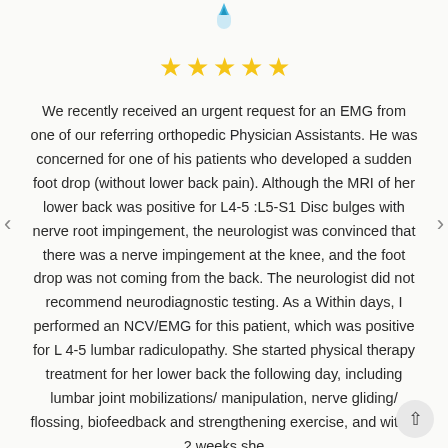[Figure (logo): Medical/healthcare logo with blue teardrop/flame shape at top center]
[Figure (infographic): Five gold star rating]
We recently received an urgent request for an EMG from one of our referring orthopedic Physician Assistants. He was concerned for one of his patients who developed a sudden foot drop (without lower back pain). Although the MRI of her lower back was positive for L4-5 :L5-S1 Disc bulges with nerve root impingement, the neurologist was convinced that there was a nerve impingement at the knee, and the foot drop was not coming from the back. The neurologist did not recommend neurodiagnostic testing. As a Within days, I performed an NCV/EMG for this patient, which was positive for L 4-5 lumbar radiculopathy. She started physical therapy treatment for her lower back the following day, including lumbar joint mobilizations/ manipulation, nerve gliding/ flossing, biofeedback and strengthening exercise, and within 2 weeks she